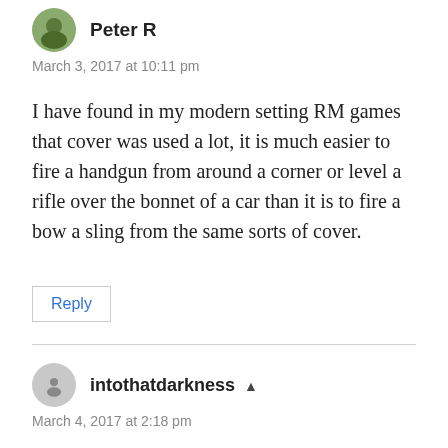Peter R
March 3, 2017 at 10:11 pm
I have found in my modern setting RM games that cover was used a lot, it is much easier to fire a handgun from around a corner or level a rifle over the bonnet of a car than it is to fire a bow a sling from the same sorts of cover.
Reply
intothatdarkness
March 4, 2017 at 2:18 pm
True enough, but most RM rules modifications